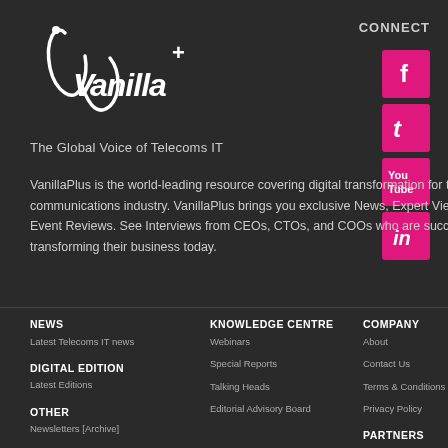[Figure (logo): VanillaPlus logo - stylized text with a plus sign on dark background]
CONNECT
[Figure (illustration): Facebook social media icon - white f on pink/magenta square]
[Figure (illustration): Twitter social media icon - white t on pink/magenta square]
[Figure (illustration): YouTube social media icon - white YouTube text on pink/magenta square]
[Figure (illustration): LinkedIn social media icon - white in on pink/magenta square]
The Global Voice of Telecoms IT
VanillaPlus is the world-leading resource covering digital transformation for the communications industry. VanillaPlus brings you exclusive News, Expert Views, and Event Reviews. See Interviews from CEOs, CTOs, and COOs who are successfully transforming their business today.
NEWS
Latest Telecoms IT news
DIGITAL EDITION
Latest Editions
OTHER
Newsletters [Archive]
KNOWLEDGE CENTRE
Webinars
Special Reports
Talking Heads
Editorial Advisory Board
COMPANY
About
Contact Us
Terms & Conditions
Privacy Policy
PARTNERS